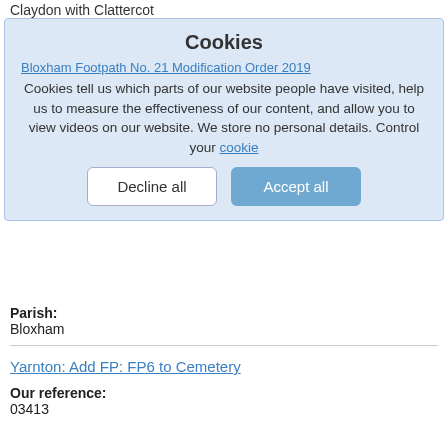Claydon with Clattercot
Bloxham Footpath No. 21 Modification Order 2019
Our reference:
03361
Applicant name(s):
Mrs V Moyse, 1B Greenhills Park, Bloxham, Nr Banbury, Oxon, OX15 4AT
Postcode(s):
OX15 4QQ
Cookies
Cookies tell us which parts of our website people have visited, help us to measure the effectiveness of our content, and allow you to view videos on our website. We store no personal details. Control your cookie
Decline all
Accept all
Parish:
Bloxham
Yarnton: Add FP: FP6 to Cemetery
Our reference:
03413